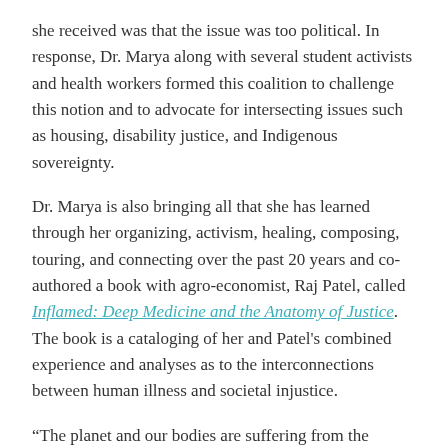she received was that the issue was too political. In response, Dr. Marya along with several student activists and health workers formed this coalition to challenge this notion and to advocate for intersecting issues such as housing, disability justice, and Indigenous sovereignty.
Dr. Marya is also bringing all that she has learned through her organizing, activism, healing, composing, touring, and connecting over the past 20 years and co-authored a book with agro-economist, Raj Patel, called Inflamed: Deep Medicine and the Anatomy of Justice. The book is a cataloging of her and Patel's combined experience and analyses as to the interconnections between human illness and societal injustice.
“The planet and our bodies are suffering from the damage of a mindset, namely, capitalism, that has shaped our socioeconomic reality of the world for the last 600 years,” she says. The book essentially connects the dots between the hierarchies created through capitalism (male supremacy, white supremacy, supremacy over nature), the harmful actions that results from those hierarchies (e.g., removing Native people from their land and extraction of